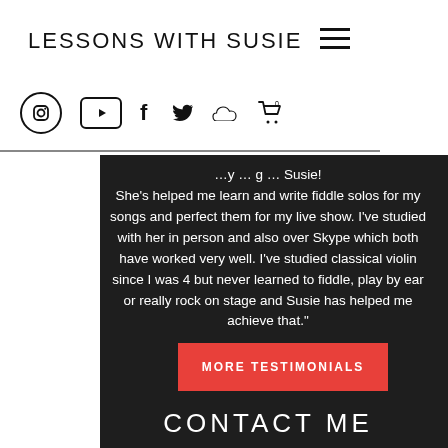LESSONS WITH SUSIE
[Figure (screenshot): Navigation bar with hamburger menu icon and social media icons: Instagram, YouTube, Facebook, Twitter, SoundCloud, and shopping cart]
[Figure (photo): Partial view of a person wearing blue clothing, visible in the top-right corner]
She's helped me learn and write fiddle solos for my songs and perfect them for my live show. I've studied with her in person and also over Skype which both have worked very well. I've studied classical violin since I was 4 but never learned to fiddle, play by ear or really rock on stage and Susie has helped me achieve that."
MORE TESTIMONIALS
CONTACT ME